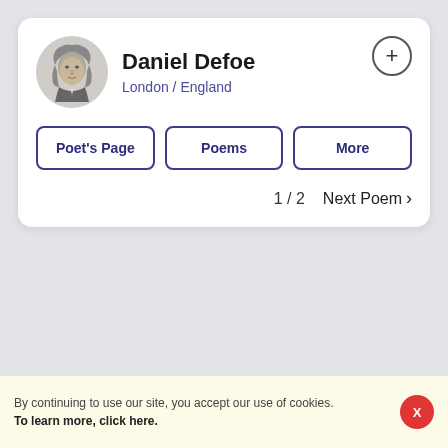Daniel Defoe
London / England
Poet's Page
Poems
More
1 / 2
Next Poem ›
By continuing to use our site, you accept our use of cookies. To learn more, click here.